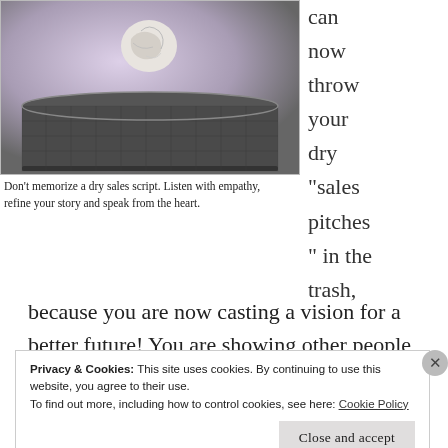[Figure (photo): A crumpled paper ball in mid-air above a mesh metal trash can, against a light purple-gray gradient background.]
Don't memorize a dry sales script. Listen with empathy, refine your story and speak from the heart.
can now throw your dry "sales pitches" in the trash,
because you are now casting a vision for a better future! You are showing other people how their lives
Privacy & Cookies: This site uses cookies. By continuing to use this website, you agree to their use. To find out more, including how to control cookies, see here: Cookie Policy
Close and accept